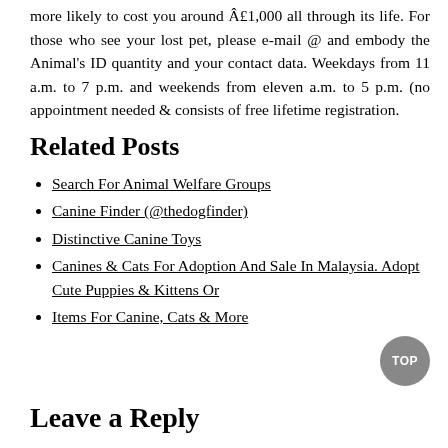more likely to cost you around £1,000 all through its life. For those who see your lost pet, please e-mail @ and embody the Animal's ID quantity and your contact data. Weekdays from 11 a.m. to 7 p.m. and weekends from eleven a.m. to 5 p.m. (no appointment needed & consists of free lifetime registration.
Related Posts
Search For Animal Welfare Groups
Canine Finder (@thedogfinder)
Distinctive Canine Toys
Canines & Cats For Adoption And Sale In Malaysia. Adopt Cute Puppies & Kittens Or
Items For Canine, Cats & More
Leave a Reply